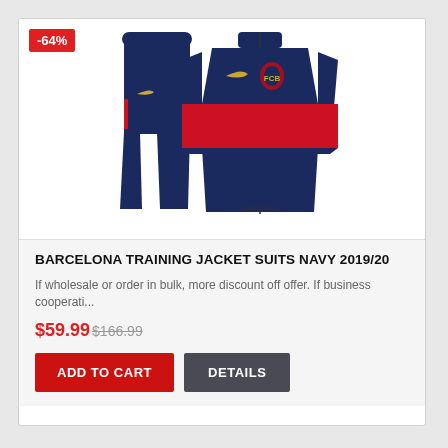[Figure (photo): Barcelona Nike training jacket suit in navy and red, with matching navy training pants. Nike swoosh logo and Barcelona FC crest visible. Discount badge showing -64% in red top-left corner.]
BARCELONA TRAINING JACKET SUITS NAVY 2019/20
If wholesale or order in bulk, more discount off offer. If business cooperati...
$59.99 $166.99